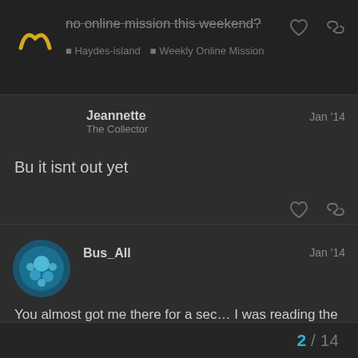no online mission this weekend? | Haydes-island | Weekly Online Mission
Jeannette
The Collector
Jan '14

Bu it isnt out yet
Bus_All
Jan '14

You almost got me there for a sec… I was reading the title & was like, man, really??
2 / 14